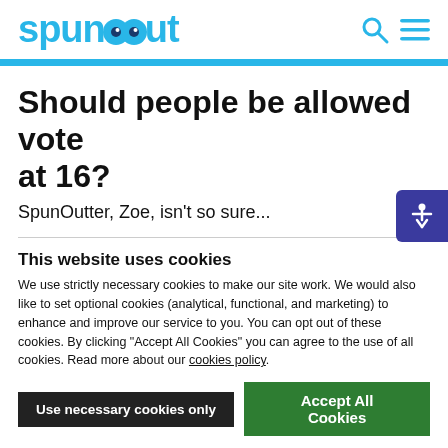spunout
Should people be allowed vote at 16?
SpunOutter, Zoe, isn't so sure...
This website uses cookies
We use strictly necessary cookies to make our site work. We would also like to set optional cookies (analytical, functional, and marketing) to enhance and improve our service to you. You can opt out of these cookies. By clicking "Accept All Cookies" you can agree to the use of all cookies. Read more about our cookies policy.
Use necessary cookies only | Accept All Cookies
Show details